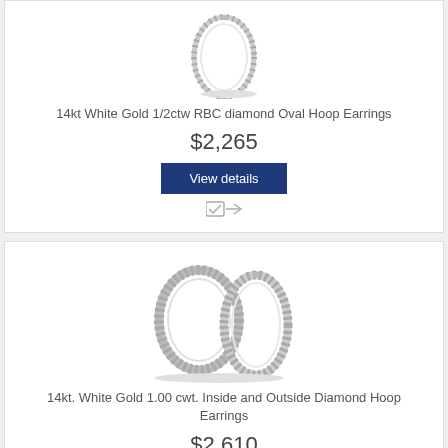[Figure (photo): 14kt White Gold 1/2ctw RBC diamond Oval Hoop Earrings product image showing a delicate oval diamond hoop earring]
14kt White Gold 1/2ctw RBC diamond Oval Hoop Earrings
$2,265
View details
[Figure (photo): 14kt. White Gold 1.00 cwt. Inside and Outside Diamond Hoop Earrings product image showing two large diamond hoop earrings]
14kt. White Gold 1.00 cwt. Inside and Outside Diamond Hoop Earrings
$2,610
View details